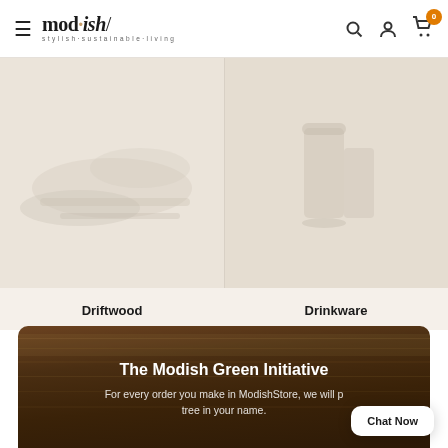[Figure (screenshot): mod·ish/ website header with hamburger menu, logo with tagline 'stylish·sustainable·living', search icon, account icon, and cart icon with badge showing 0]
[Figure (screenshot): Two product category thumbnails on beige background: Driftwood (left) and Drinkware (right)]
Driftwood
Drinkware
[Figure (photo): Dark wood texture banner with 'The Modish Green Initiative' heading and text about planting a tree for every order]
The Modish Green Initiative
For every order you make in ModishStore, we will p[lant a] tree in your name.
Chat Now